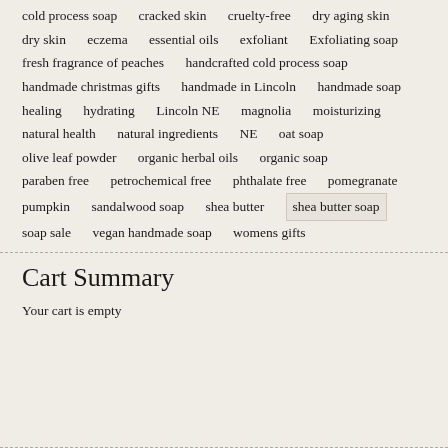cold process soap   cracked skin   cruelty-free   dry aging skin   dry skin   eczema   essential oils   exfoliant   Exfoliating soap   fresh fragrance of peaches   handcrafted cold process soap   handmade christmas gifts   handmade in Lincoln   handmade soap   healing   hydrating   Lincoln NE   magnolia   moisturizing   natural health   natural ingredients   NE   oat soap   olive leaf powder   organic herbal oils   organic soap   paraben free   petrochemical free   phthalate free   pomegranate   pumpkin   sandalwood soap   shea butter   shea butter soap   soap sale   vegan handmade soap   womens gifts
Cart Summary
Your cart is empty